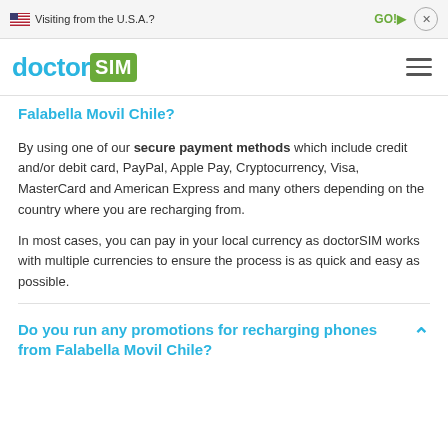🇺🇸 Visiting from the U.S.A.?   GO!▶   ✕
[Figure (logo): doctorSIM logo with hamburger menu icon]
Falabella Movil Chile?
By using one of our secure payment methods which include credit and/or debit card, PayPal, Apple Pay, Cryptocurrency, Visa, MasterCard and American Express and many others depending on the country where you are recharging from.
In most cases, you can pay in your local currency as doctorSIM works with multiple currencies to ensure the process is as quick and easy as possible.
Do you run any promotions for recharging phones from Falabella Movil Chile?